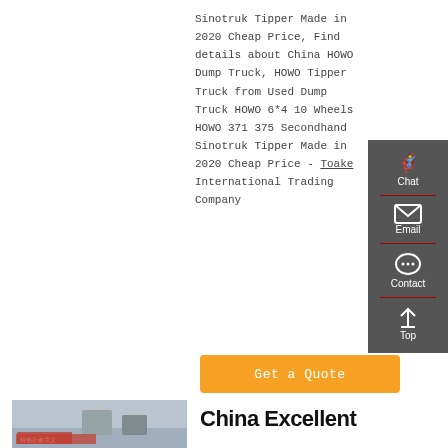Sinotruk Tipper Made in 2020 Cheap Price, Find details about China HOWO Dump Truck, HOWO Tipper Truck from Used Dump Truck HOWO 6*4 10 Wheels HOWO 371 375 Secondhand Sinotruk Tipper Made in 2020 Cheap Price - Toake International Trading Company
[Figure (other): Sidebar widget with dark grey background showing Chat, Email, Contact, and Top navigation icons in white text with red dividers]
Get a Quote
[Figure (photo): Photograph showing Chinese banners and buildings, partial view at bottom left of page]
China Excellent